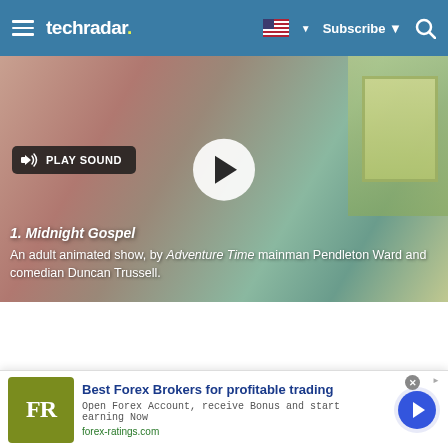techradar | Subscribe
[Figure (screenshot): Video thumbnail showing animated scene from Midnight Gospel with play button and PLAY SOUND button overlay. Caption overlay reads: 1. Midnight Gospel - An adult animated show, by Adventure Time mainman Pendleton Ward and comedian Duncan Trussell.]
[Figure (photo): Partial view of a decorative still life with golden/amber tones and dark ornamental objects]
[Figure (infographic): Advertisement banner: FR logo (olive green square), Best Forex Brokers for profitable trading, Open Forex Account, receive Bonus and start earning Now, forex-ratings.com, with blue arrow button]